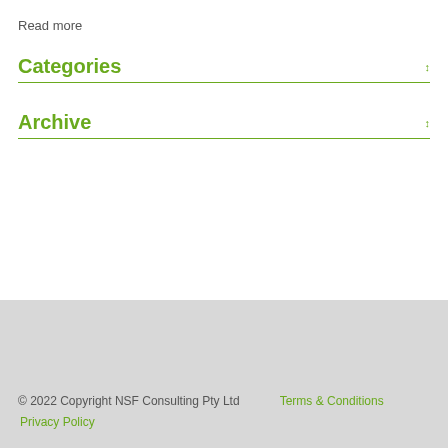Read more
Categories
Archive
© 2022 Copyright NSF Consulting Pty Ltd   Terms & Conditions   Privacy Policy